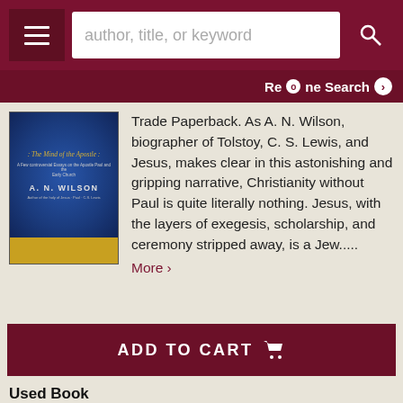[Figure (screenshot): Bookstore website header with hamburger menu, search bar with placeholder 'author, title, or keyword', and search button]
Refine Search
[Figure (photo): Book cover of 'The Mind of the Apostle' by A. N. Wilson, dark blue with gold text and gold bottom bar]
Trade Paperback. As A. N. Wilson, biographer of Tolstoy, C. S. Lewis, and Jesus, makes clear in this astonishing and gripping narrative, Christianity without Paul is quite literally nothing. Jesus, with the layers of exegesis, scholarship, and ceremony stripped away, is a Jew.....
More ›
ADD TO CART 🛒
Used Book
Price: $5.75